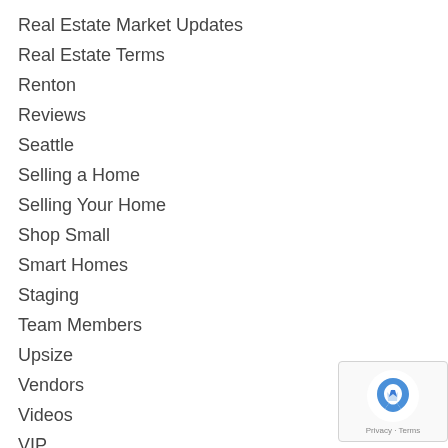Real Estate Market Updates
Real Estate Terms
Renton
Reviews
Seattle
Selling a Home
Selling Your Home
Shop Small
Smart Homes
Staging
Team Members
Upsize
Vendors
Videos
VIP
Wine